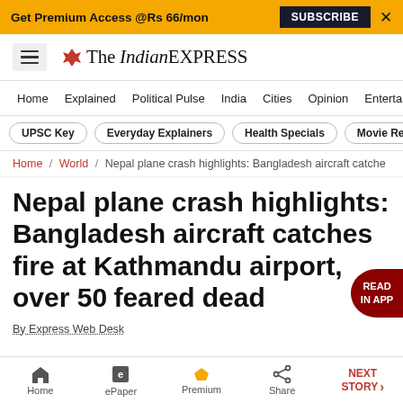Get Premium Access @Rs 66/mon  SUBSCRIBE  ×
[Figure (logo): The Indian Express logo with hamburger menu icon]
Home / Explained / Political Pulse / India / Cities / Opinion / Entertainment
UPSC Key  Everyday Explainers  Health Specials  Movie Reviews
Home / World / Nepal plane crash highlights: Bangladesh aircraft catche
Nepal plane crash highlights: Bangladesh aircraft catches fire at Kathmandu airport, over 50 feared dead
By Express Web Desk
Home  ePaper  Premium  Share  NEXT STORY